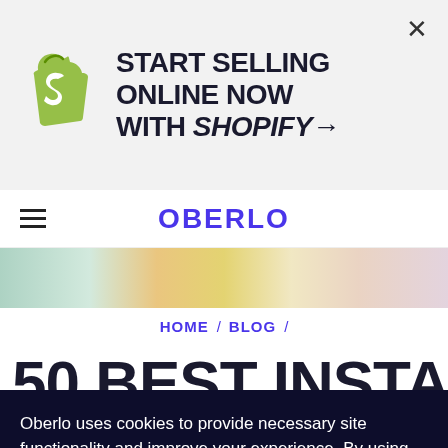[Figure (screenshot): Shopify advertisement banner with green shopping bag logo and text 'START SELLING ONLINE NOW WITH SHOPIFY →' on a light gray background with an X close button]
OBERLO
[Figure (photo): Partial hero image strip showing colorful clothing/fashion items on a mint green background]
HOME / BLOG /
50 BEST INSTAGRAM
Oberlo uses cookies to provide necessary site functionality and improve your experience. By using our website, you agree to our privacy policy.
Reject
ACCEPT